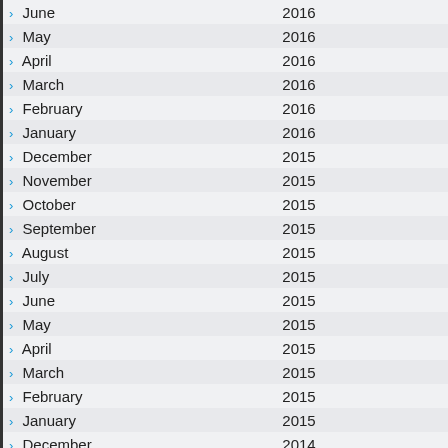| Month | Year |  |
| --- | --- | --- |
| June | 2016 |  |
| May | 2016 |  |
| April | 2016 |  |
| March | 2016 |  |
| February | 2016 |  |
| January | 2016 |  |
| December | 2015 |  |
| November | 2015 |  |
| October | 2015 |  |
| September | 2015 |  |
| August | 2015 |  |
| July | 2015 |  |
| June | 2015 |  |
| May | 2015 |  |
| April | 2015 |  |
| March | 2015 |  |
| February | 2015 |  |
| January | 2015 |  |
| December | 2014 |  |